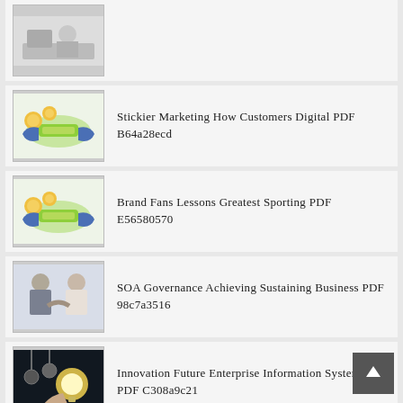(partial top item — image only visible)
Stickier Marketing How Customers Digital PDF B64a28ecd
Brand Fans Lessons Greatest Sporting PDF E56580570
SOA Governance Achieving Sustaining Business PDF 98c7a3516
Innovation Future Enterprise Information Systems PDF C308a9c21
Kooperationen Konvergenz Unternehmensspezifischen Kooperationsportfolios Branchenspezifischen PDF F980e965e
Amanda Lester Spectacles Surprise Detective PDF 2e593a7df